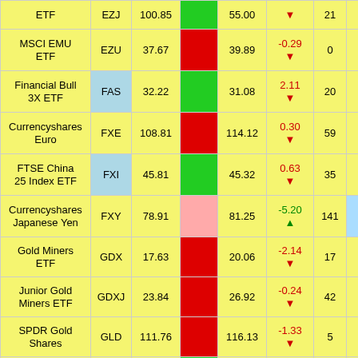| Name | Symbol | Price | Chart | 52W High | Change | Rank |  |
| --- | --- | --- | --- | --- | --- | --- | --- |
| ETF | EZJ | 100.85 |  | 55.00 | ▼ | 21 |  |
| MSCI EMU ETF | EZU | 37.67 |  | 39.89 | -0.29 ▼ | 0 |  |
| Financial Bull 3X ETF | FAS | 32.22 |  | 31.08 | 2.11 ▼ | 20 |  |
| Currencyshares Euro | FXE | 108.81 |  | 114.12 | 0.30 ▼ | 59 | 1 |
| FTSE China 25 Index ETF | FXI | 45.81 |  | 45.32 | 0.63 ▼ | 35 | 1 |
| Currencyshares Japanese Yen | FXY | 78.91 |  | 81.25 | -5.20 ▲ | 141 | 3 |
| Gold Miners ETF | GDX | 17.63 |  | 20.06 | -2.14 ▼ | 17 |  |
| Junior Gold Miners ETF | GDXJ | 23.84 |  | 26.92 | -0.24 ▼ | 42 | 3 |
| SPDR Gold Shares | GLD | 111.76 |  | 116.13 | -1.33 ▼ | 5 |  |
| Ultrashort Gold ETF | GLL | 99.80 |  | 93.84 | 0.62 ▲ | 4 |  |
| FTSE Greece... |  |  |  |  | 0.79 |  |  |